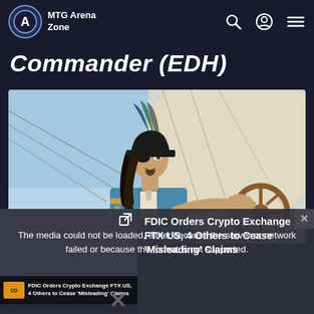MTG Arena Zone
Commander (EDH)
[Figure (illustration): Fantasy illustration of a pirate character wearing a feathered hat, holding a ship's steering wheel, dressed in blue coat, with ship sails and ropes visible in background]
The media could not be loaded, either because the server or network failed or because the format is not supported.
[Figure (screenshot): Video thumbnail showing a person in a blue shirt]
FDIC Orders Crypto Exchange FTX US, 4 Others to Cease 'Misleading' Claims
FDIC Orders Crypto Exchange FTX US, 4 Others to Cease 'Misleading' Claims
Box Toppers